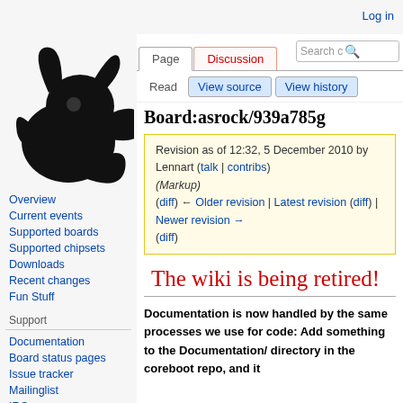Log in
[Figure (logo): Coreboot project logo: black rabbit/squirrel silhouette on light background]
Overview
Current events
Supported boards
Supported chipsets
Downloads
Recent changes
Fun Stuff
Support
Documentation
Board status pages
Issue tracker
Mailinglist
IRC
Board:asrock/939a785g
Revision as of 12:32, 5 December 2010 by Lennart (talk | contribs) (Markup)
(diff) ← Older revision | Latest revision (diff) | Newer revision → (diff)
The wiki is being retired!
Documentation is now handled by the same processes we use for code: Add something to the Documentation/ directory in the coreboot repo, and it will be uploaded to...